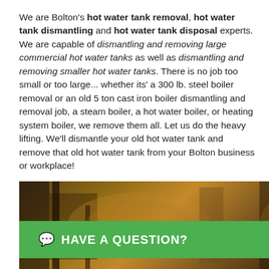We are Bolton's hot water tank removal, hot water tank dismantling and hot water tank disposal experts. We are capable of dismantling and removing large commercial hot water tanks as well as dismantling and removing smaller hot water tanks. There is no job too small or too large... whether its' a 300 lb. steel boiler removal or an old 5 ton cast iron boiler dismantling and removal job, a steam boiler, a hot water boiler, or heating system boiler, we remove them all. Let us do the heavy lifting. We'll dismantle your old hot water tank and remove that old hot water tank from your Bolton business or workplace!
[Figure (photo): Photo of industrial boiler or hot water tank equipment in a dark setting]
HAVE A QUESTION?